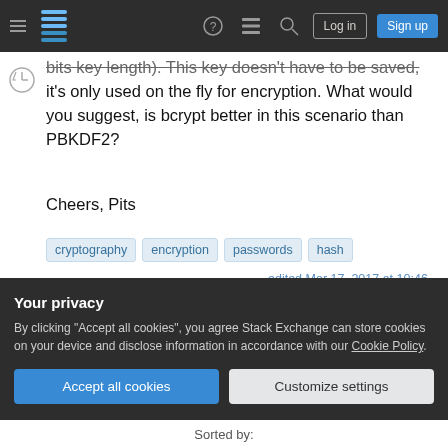Stack Exchange navigation bar with hamburger menu, logo, help, chat, search icons, Log in and Sign up buttons
bits key length). This key doesn't have to be saved, it's only used on the fly for encryption. What would you suggest, is bcrypt better in this scenario than PBKDF2?
Cheers, Pits
cryptography
encryption
passwords
hash
Share
Improve this question
edited Mar 17, 2017 at 10:46
Community Bot 1
Your privacy
By clicking "Accept all cookies", you agree Stack Exchange can store cookies on your device and disclose information in accordance with our Cookie Policy.
Accept all cookies   Customize settings
Sorted by: